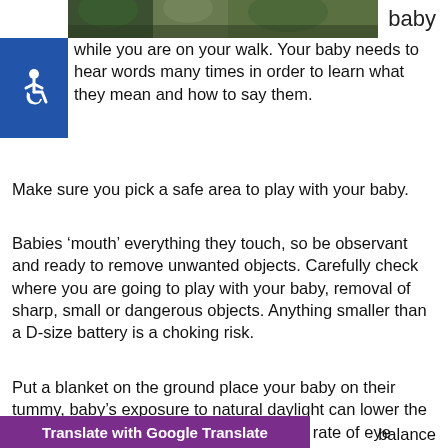[Figure (photo): Outdoor photo strip showing trees and foliage at the top of the page]
baby while you are on your walk. Your baby needs to hear words many times in order to learn what they mean and how to say them.
Make sure you pick a safe area to play with your baby.
Babies ‘mouth’ everything they touch, so be observant and ready to remove unwanted objects. Carefully check where you are going to play with your baby, removal of sharp, small or dangerous objects. Anything smaller than a D-size battery is a choking risk.
Put a blanket on the ground place your baby on their tummy, baby’s exposure to natural daylight can lower the risk of nearsightedness by regulating the rate of eye growth. Moreover, balance
[Figure (other): Accessibility icon (wheelchair symbol) in blue square]
Translate with Google Translate